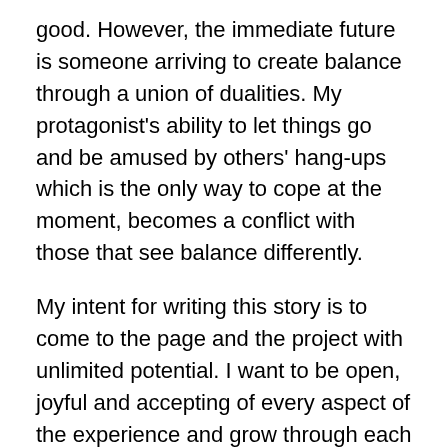good. However, the immediate future is someone arriving to create balance through a union of dualities. My protagonist's ability to let things go and be amused by others' hang-ups which is the only way to cope at the moment, becomes a conflict with those that see balance differently.
My intent for writing this story is to come to the page and the project with unlimited potential. I want to be open, joyful and accepting of every aspect of the experience and grow through each step of the journey, returning with the elixir that will improve all of my stories.
The outside world sees my protagonist as a man on a cliff looking at distant mountains, as someone opportunities would widen horizons in many areas. They think s/he could open his/her mind and embrace change.